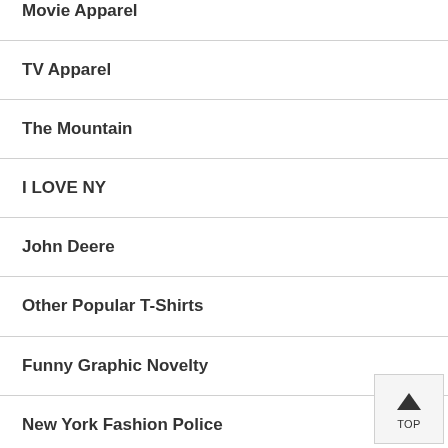Movie Apparel
TV Apparel
The Mountain
I LOVE NY
John Deere
Other Popular T-Shirts
Funny Graphic Novelty
New York Fashion Police